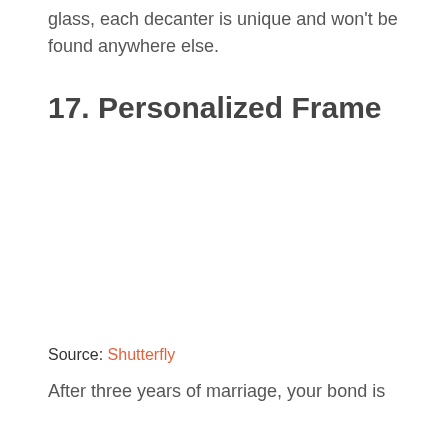glass, each decanter is unique and won't be found anywhere else.
17. Personalized Frame
[Figure (photo): Image of a personalized frame (not visible in this crop)]
Source: Shutterfly
After three years of marriage, your bond is